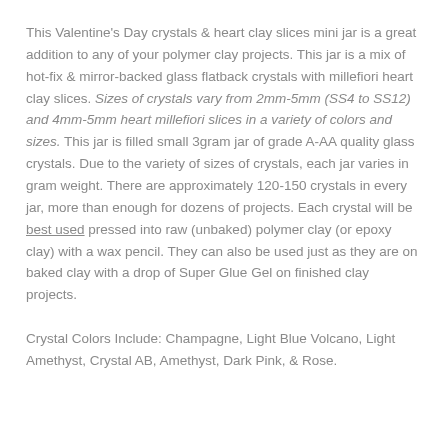This Valentine's Day crystals & heart clay slices mini jar is a great addition to any of your polymer clay projects. This jar is a mix of hot-fix & mirror-backed glass flatback crystals with millefiori heart clay slices. Sizes of crystals vary from 2mm-5mm (SS4 to SS12) and 4mm-5mm heart millefiori slices in a variety of colors and sizes. This jar is filled small 3gram jar of grade A-AA quality glass crystals. Due to the variety of sizes of crystals, each jar varies in gram weight. There are approximately 120-150 crystals in every jar, more than enough for dozens of projects. Each crystal will be best used pressed into raw (unbaked) polymer clay (or epoxy clay) with a wax pencil. They can also be used just as they are on baked clay with a drop of Super Glue Gel on finished clay projects.
Crystal Colors Include: Champagne, Light Blue Volcano, Light Amethyst, Crystal AB, Amethyst, Dark Pink, & Rose.